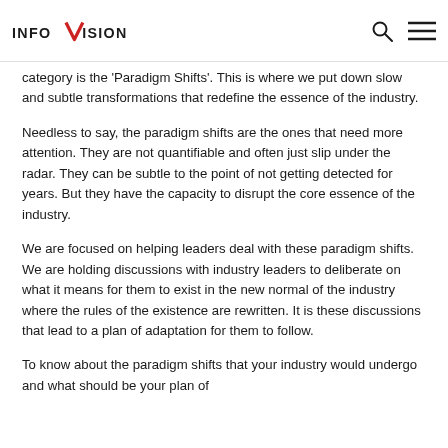INFOVISION
category is the 'Paradigm Shifts'. This is where we put down slow and subtle transformations that redefine the essence of the industry.
Needless to say, the paradigm shifts are the ones that need more attention. They are not quantifiable and often just slip under the radar. They can be subtle to the point of not getting detected for years. But they have the capacity to disrupt the core essence of the industry.
We are focused on helping leaders deal with these paradigm shifts. We are holding discussions with industry leaders to deliberate on what it means for them to exist in the new normal of the industry where the rules of the existence are rewritten. It is these discussions that lead to a plan of adaptation for them to follow.
To know about the paradigm shifts that your industry would undergo and what should be your plan of